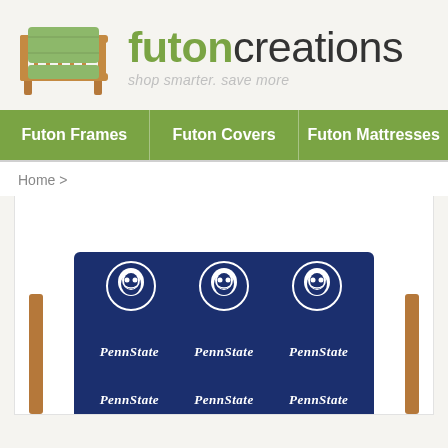[Figure (logo): Futon Creations logo with futon sofa image on left and brand name 'futoncreations' with tagline 'shop smarter. save more']
Futon Frames | Futon Covers | Futon Mattresses
Home >
[Figure (photo): Penn State branded futon cover on a futon frame, navy blue with repeating Penn State Nittany Lion logos and 'PennState' text]